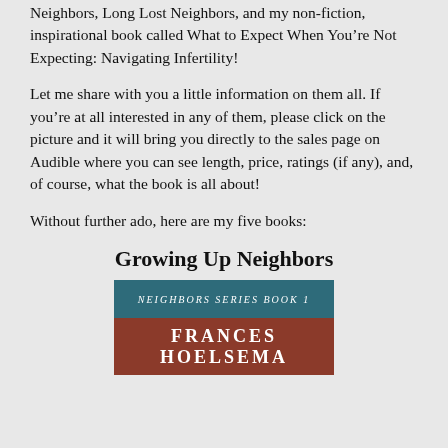Neighbors, Long Lost Neighbors, and my non-fiction, inspirational book called What to Expect When You're Not Expecting: Navigating Infertility!
Let me share with you a little information on them all. If you're at all interested in any of them, please click on the picture and it will bring you directly to the sales page on Audible where you can see length, price, ratings (if any), and, of course, what the book is all about!
Without further ado, here are my five books:
Growing Up Neighbors
[Figure (illustration): Book cover for 'Growing Up Neighbors' by Frances Hoelsema, Neighbors Series Book 1. Top portion has teal/dark blue background with 'Neighbors Series Book 1' in italic uppercase text. Bottom portion has a reddish-brown background with 'Frances Hoelsema' in large bold uppercase letters.]